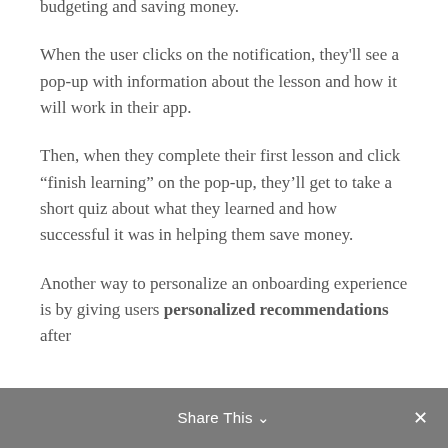budgeting and saving money.
When the user clicks on the notification, they'll see a pop-up with information about the lesson and how it will work in their app.
Then, when they complete their first lesson and click “finish learning” on the pop-up, they’ll get to take a short quiz about what they learned and how successful it was in helping them save money.
Another way to personalize an onboarding experience is by giving users personalized recommendations after
Share This ∨ ×